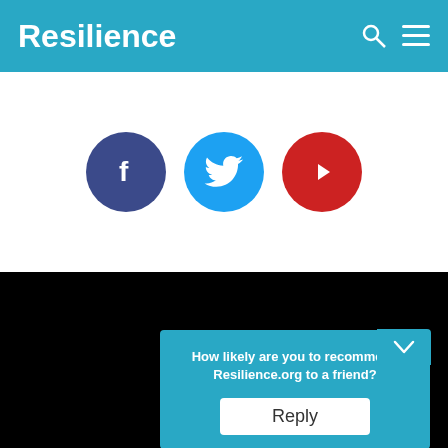Resilience
[Figure (logo): Social media icons: Facebook (dark blue circle with f), Twitter (light blue circle with bird), YouTube (red circle with play button)]
[Figure (logo): Post Carbon Institute logo: colorful 3x3 grid of color squares alongside text 'post carbon institute']
Resilience is a program of Post Carbon Institute, a nonprofit organization dedicated to helping the world transition away from fossil fuels and build sustainable,
[Figure (screenshot): Popup overlay asking 'How likely are you to recommend Resilience.org to a friend?' with a Reply button]